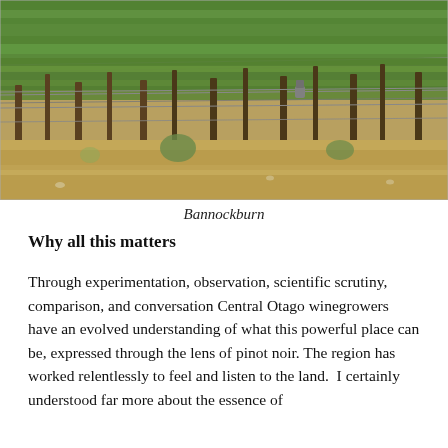[Figure (photo): Photograph of a vineyard at Bannockburn showing rows of grapevines on trellises over dry grassy hillside terrain]
Bannockburn
Why all this matters
Through experimentation, observation, scientific scrutiny, comparison, and conversation Central Otago winegrowers have an evolved understanding of what this powerful place can be, expressed through the lens of pinot noir. The region has worked relentlessly to feel and listen to the land.  I certainly understood far more about the essence of